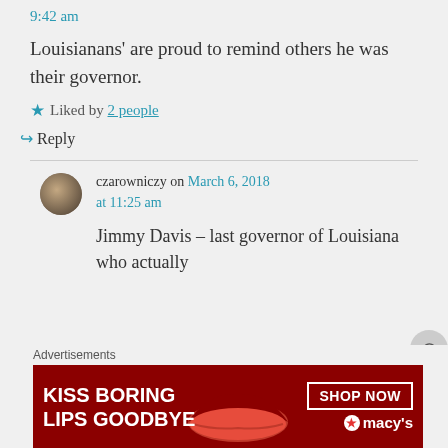9:42 am
Louisianans' are proud to remind others he was their governor.
Liked by 2 people
Reply
czarowniczy on March 6, 2018 at 11:25 am
Jimmy Davis – last governor of Louisiana who actually
Advertisements
[Figure (photo): Macy's advertisement banner: KISS BORING LIPS GOODBYE with SHOP NOW button and Macy's logo]